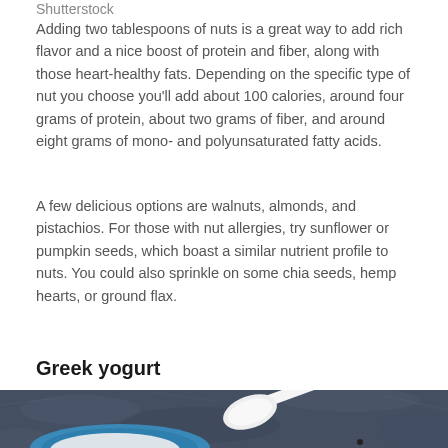Shutterstock
Adding two tablespoons of nuts is a great way to add rich flavor and a nice boost of protein and fiber, along with those heart-healthy fats. Depending on the specific type of nut you choose you'll add about 100 calories, around four grams of protein, about two grams of fiber, and around eight grams of mono- and polyunsaturated fatty acids.
A few delicious options are walnuts, almonds, and pistachios. For those with nut allergies, try sunflower or pumpkin seeds, which boast a similar nutrient profile to nuts. You could also sprinkle on some chia seeds, hemp hearts, or ground flax.
Greek yogurt
[Figure (photo): A blue bowl with Greek yogurt and a white ceramic spoon on a dark blue textured surface, viewed from above.]